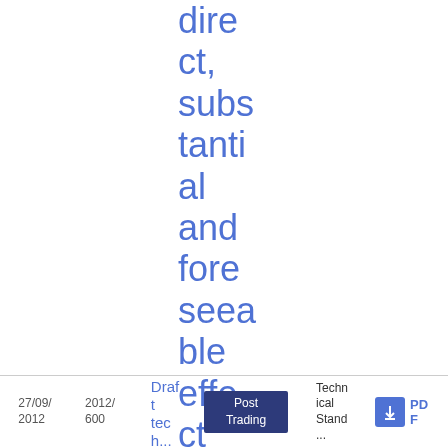direct, substantial and foreseeable effect within the Union and non-evasion
27/09/2012 | 2012/600 | Draft tech... | Post Trading | Technical Stand... | PDF